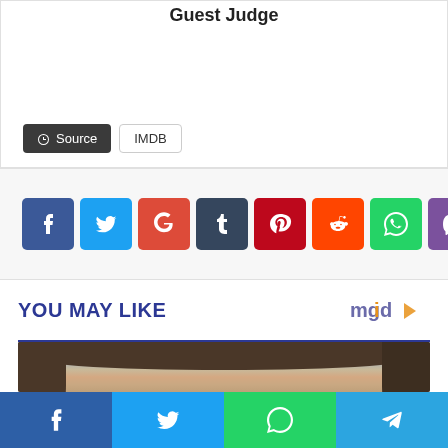Guest Judge
Source | IMDB
[Figure (infographic): Row of social media share buttons: Facebook (blue), Twitter (cyan), Google+ (red), Tumblr (dark blue), Pinterest (dark red), Reddit (orange), WhatsApp (green), Viber (purple)]
YOU MAY LIKE
[Figure (photo): Close-up photo of a young woman with brown hair, forehead and eyebrows visible, blue-grey background]
[Figure (infographic): Bottom share bar with four buttons: Facebook (blue), Twitter (blue), WhatsApp (green), Telegram (light blue)]